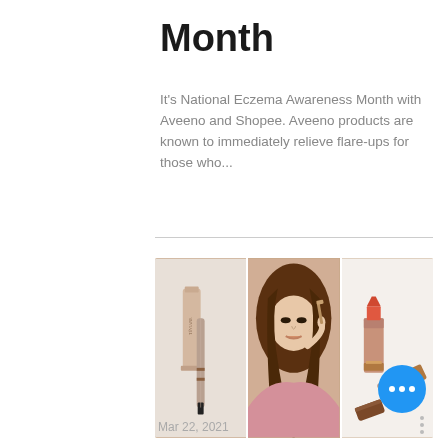Month
It's National Eczema Awareness Month with Aveeno and Shopee. Aveeno products are known to immediately relieve flare-ups for those who...
[Figure (photo): Three-panel image collage: left panel shows a Téviane cosmetic tube/mascara product on white background; center panel shows a young Asian woman holding a mascara wand near her eye, wearing a pink top; right panel shows two lipsticks with rose-gold packaging on white fur background.]
Mar 22, 2021